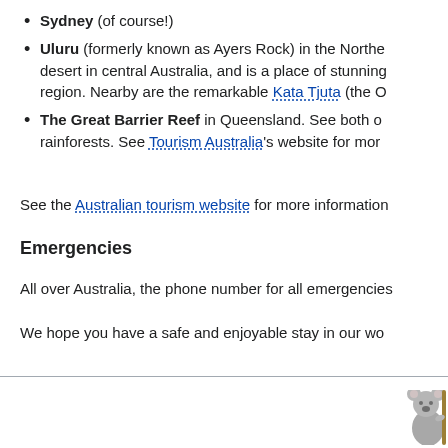Sydney (of course!)
Uluru (formerly known as Ayers Rock) in the Northe… desert in central Australia, and is a place of stunning… region. Nearby are the remarkable Kata Tjuta (the O…
The Great Barrier Reef in Queensland. See both o… rainforests. See Tourism Australia's website for mor…
See the Australian tourism website for more information…
Emergencies
All over Australia, the phone number for all emergencies…
We hope you have a safe and enjoyable stay in our wo…
[Figure (illustration): Partial koala illustration in bottom-right corner]